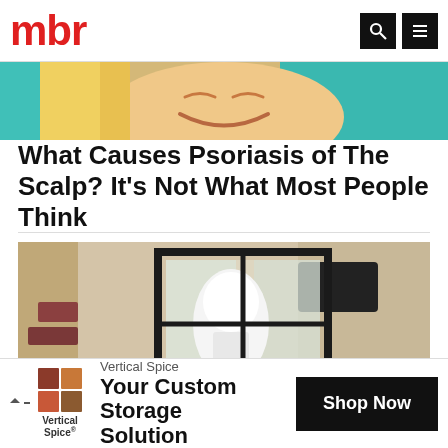mbr
[Figure (illustration): Partially visible colorful comic/pop-art style illustration showing a smiling face with teal/green background and blonde hair]
What Causes Psoriasis of The Scalp? It's Not What Most People Think
Scalp Psoriasis | Search Ads | Sponsored
[Figure (photo): Outdoor wall-mounted lantern light fixture with black metal frame and white glass bulb, mounted on a textured stucco wall]
Vertical Spice Your Custom Storage Solution Shop Now